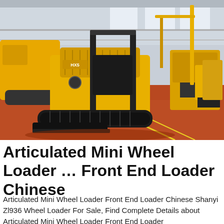[Figure (photo): Interior of a manufacturing warehouse with yellow and black tracked mini loaders and construction equipment on a red floor, large windows in background.]
Articulated Mini Wheel Loader … Front End Loader Chinese
Articulated Mini Wheel Loader Front End Loader Chinese Shanyi Zl936 Wheel Loader For Sale, Find Complete Details about Articulated Mini Wheel Loader Front End Loader